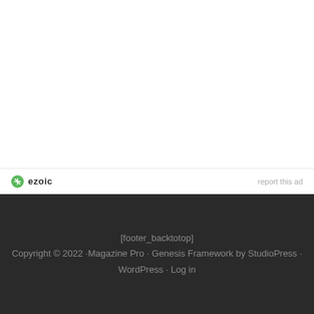[Figure (logo): Ezoic logo with green circular icon and 'ezoic' text]
report this ad
[footer_backtotop]
Copyright © 2022 ·Magazine Pro · Genesis Framework by StudioPress · WordPress · Log in